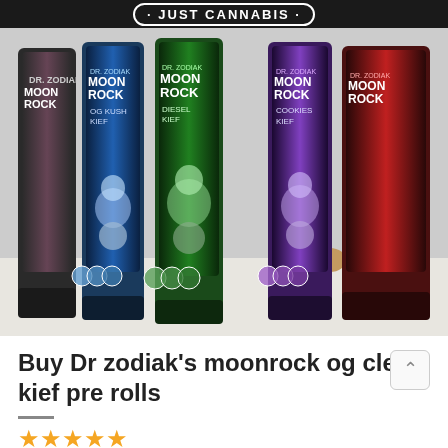· JUST CANNABIS ·
[Figure (photo): Multiple Dr. Zodiak's Moonrock pre-roll tubes displayed in a row, featuring colorful astronaut label artwork in blue, green, purple, and red/black colorways, with cork tips visible in the background.]
Buy Dr zodiak's moonrock og clear kief pre rolls
—
[Figure (other): Star rating row showing approximately 4-5 gold stars]